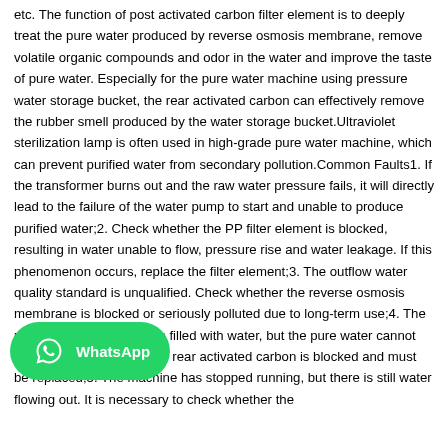etc. The function of post activated carbon filter element is to deeply treat the pure water produced by reverse osmosis membrane, remove volatile organic compounds and odor in the water and improve the taste of pure water. Especially for the pure water machine using pressure water storage bucket, the rear activated carbon can effectively remove the rubber smell produced by the water storage bucket.Ultraviolet sterilization lamp is often used in high-grade pure water machine, which can prevent purified water from secondary pollution.Common Faults1. If the transformer burns out and the raw water pressure fails, it will directly lead to the failure of the water pump to start and unable to produce purified water;2. Check whether the PP filter element is blocked, resulting in water unable to flow, pressure rise and water leakage. If this phenomenon occurs, replace the filter element;3. The outflow water quality standard is unqualified. Check whether the reverse osmosis membrane is blocked or seriously polluted due to long-term use;4. The pressure bucket has been filled with water, but the pure water cannot flow out. It may be that the rear activated carbon is blocked and must be replaced;5. The machine has stopped running, but there is still water flowing out. It is necessary to check whether the
[Figure (logo): WhatsApp badge/button with green rounded rectangle background, WhatsApp logo icon on left, and 'WhatsApp' text on right in white.]